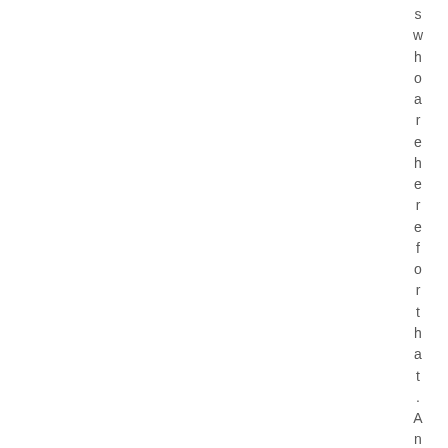s w h o a r e h e r e f o r t h a t . A n y t i p s a t t h i